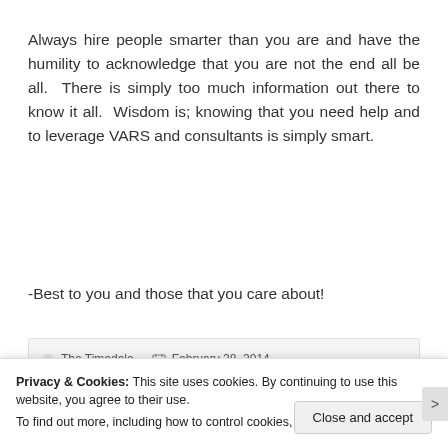Always hire people smarter than you are and have the humility to acknowledge that you are not the end all be all. There is simply too much information out there to know it all. Wisdom is; knowing that you need help and to leverage VARS and consultants is simply smart.
-Best to you and those that you care about!
The Timedale   February 28, 2014
Privacy & Cookies: This site uses cookies. By continuing to use this website, you agree to their use. To find out more, including how to control cookies, see here: Cookie Policy
Close and accept